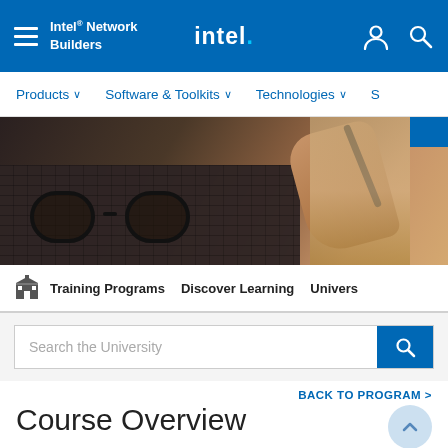Intel® Network Builders — intel. (navigation header)
Products ∨   Software & Toolkits ∨   Technologies ∨   S
[Figure (photo): Person sitting at a keyboard desk holding a pen, with glasses resting on the surface. A blue button visible in the top right corner of the banner.]
Training Programs   Discover Learning   Univers
Search the University
BACK TO PROGRAM >
Course Overview
In this course, Petar Torre, Lead Architect for Telco Infrastructure at Intel, introduces Hyperscan, an open source project that provides substantial improvements to